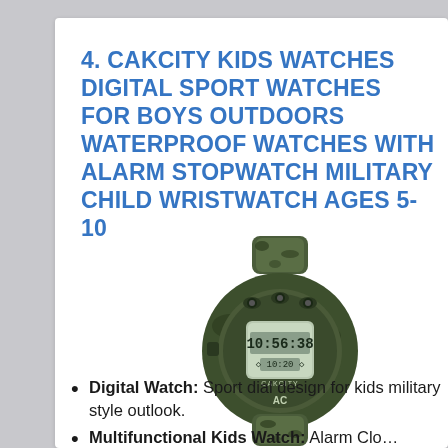4. CAKCITY KIDS WATCHES DIGITAL SPORT WATCHES FOR BOYS OUTDOORS WATERPROOF WATCHES WITH ALARM STOPWATCH MILITARY CHILD WRISTWATCH AGES 5-10
[Figure (photo): A camouflage-patterned green and black digital kids sport watch showing 10:56:38 on the display face with small buttons on top, displayed against a white background.]
Digital Watch: Sport dial design for kids military style outlook.
Multifunctional Kids Watch: Alarm Clo...